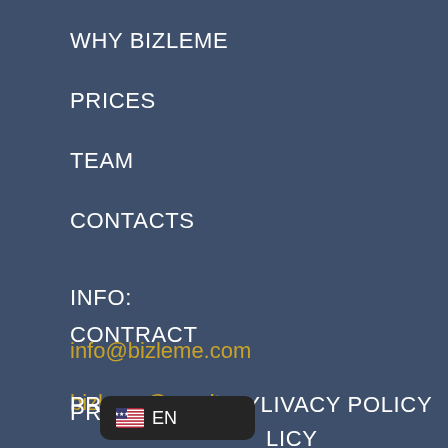WHY BIZLEME
PRICES
TEAM
CONTACTS
INFO:
info@bizleme.com
bizleme@pec.it
CONTRACT
PRIVACY POLICY
[Figure (infographic): Language selector badge showing US flag and EN text on dark rounded rectangle background]